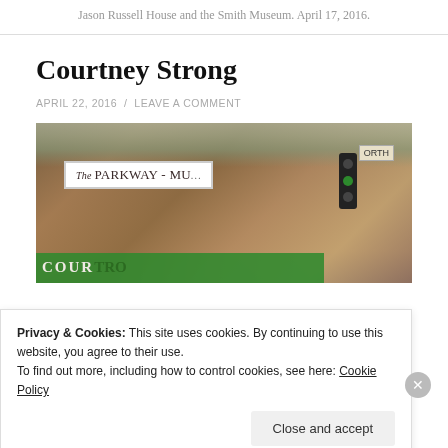Jason Russell House and the Smith Museum. April 17, 2016.
Courtney Strong
APRIL 22, 2016 / LEAVE A COMMENT
[Figure (photo): Photograph of The Parkway Museum sign on a brick building with traffic lights and trees visible. Green banner partially visible at bottom.]
Privacy & Cookies: This site uses cookies. By continuing to use this website, you agree to their use.
To find out more, including how to control cookies, see here: Cookie Policy
Close and accept